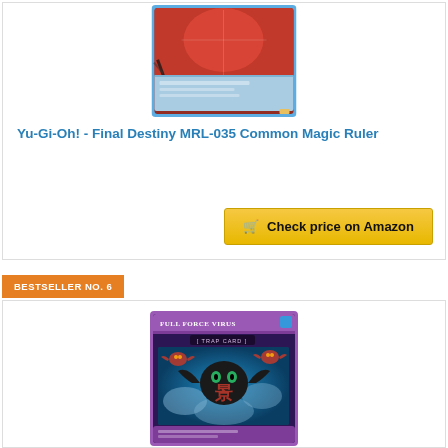[Figure (photo): Yu-Gi-Oh Final Destiny MRL-035 trading card image showing red/dark artwork with teal border]
Yu-Gi-Oh! - Final Destiny MRL-035 Common Magic Ruler
Check price on Amazon
BESTSELLER NO. 6
[Figure (photo): Yu-Gi-Oh Full Force Virus trap card image showing bat creature with glowing eyes on dark background]